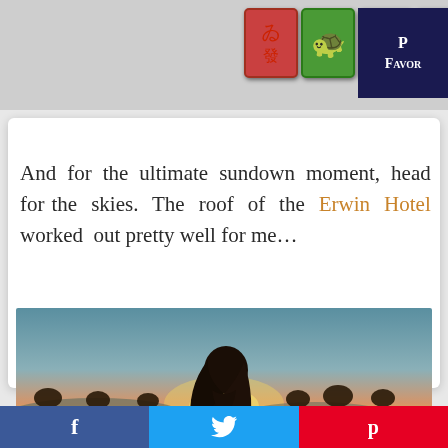[Figure (screenshot): Top banner with mahjong game tiles (red, green, orange, dark green) and dark navy text area showing 'P Favor' (partially visible)]
And for the ultimate sundown moment, head for the skies. The roof of the Erwin Hotel worked out pretty well for me…
[Figure (photo): Silhouette of a woman with long hair looking toward a sunset over palm trees and mountains, warm golden and teal tones]
[Figure (screenshot): Social sharing bar at bottom with Facebook (blue), Twitter (light blue), and Pinterest (red) buttons with their respective icons]